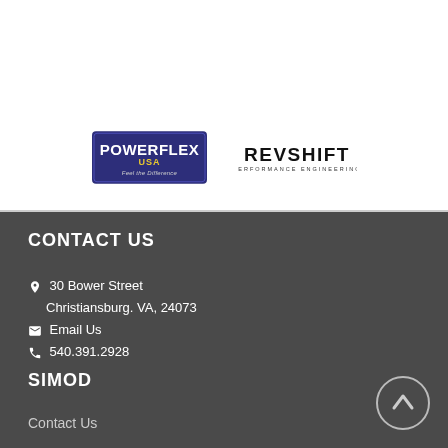[Figure (logo): Powerflex USA logo - dark blue badge with white text 'POWERFLEX USA' and tagline 'Feel the Difference']
[Figure (logo): Revshift Performance Engineering logo - black bold text 'REVSHIFT' with smaller text 'PERFORMANCE ENGINEERING']
CONTACT US
30 Bower Street
Christiansburg. VA, 24073
Email Us
540.391.2928
SIMOD
Contact Us